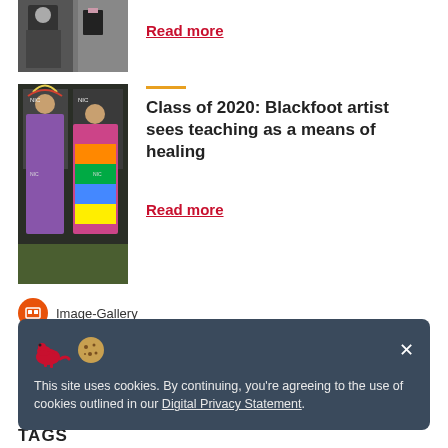[Figure (photo): Partial photo of person in traditional costume with headdress]
Read more
[Figure (photo): Two people in colorful traditional Indigenous regalia at an event with 'NIC' branded backdrop]
Class of 2020: Blackfoot artist sees teaching as a means of healing
Read more
Image-Gallery
Highlights in photos: 2019 Pride Week at UCalgary
This site uses cookies. By continuing, you're agreeing to the use of cookies outlined in our Digital Privacy Statement.
TAGS